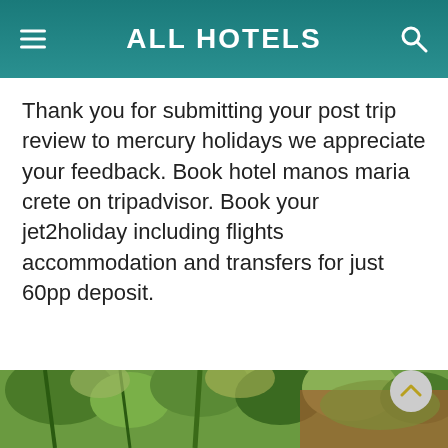ALL HOTELS
Thank you for submitting your post trip review to mercury holidays we appreciate your feedback. Book hotel manos maria crete on tripadvisor. Book your jet2holiday including flights accommodation and transfers for just 60pp deposit.
[Figure (photo): Photo of trees and foliage visible at the bottom of the page, partially cropped]